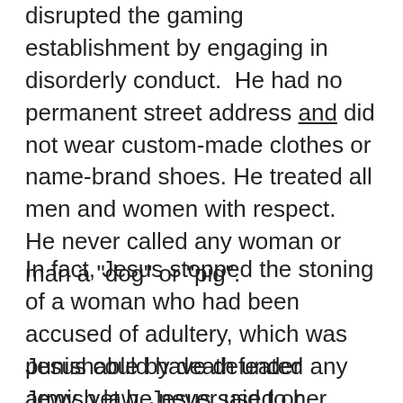disrupted the gaming establishment by engaging in disorderly conduct. He had no permanent street address and did not wear custom-made clothes or name-brand shoes. He treated all men and women with respect. He never called any woman or man a "dog" or "pig".
In fact, Jesus stopped the stoning of a woman who had been accused of adultery, which was punishable by death under Jewish law. Jesus said to her executioners, "He that is without sin among you, let him first cast a stone at her."
Jesus could have defeated any army, yet he never used or encouraged his